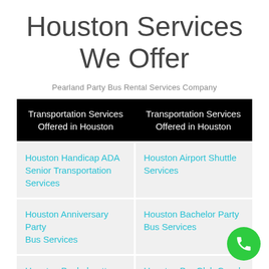Houston Services We Offer
Pearland Party Bus Rental Services Company
| ['Transportation Services Offered in Houston', 'Transportation Services Offered in Houston'] |
| --- |
| Houston Handicap ADA Senior Transportation Services | Houston Airport Shuttle Services |
| Houston Anniversary Party Bus Services | Houston Bachelor Party Bus Services |
| Houston Bachelorette Party Bus Services | Houston Bar Club Crawl Party Bus Services |